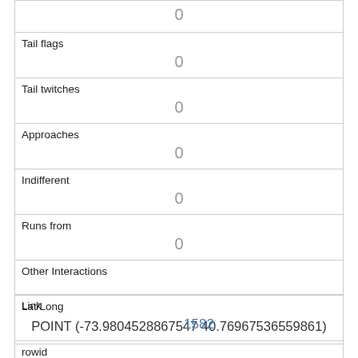| 0 |
| Tail flags | 0 |
| Tail twitches | 0 |
| Approaches | 0 |
| Indifferent | 0 |
| Runs from | 0 |
| Other Interactions |  |
| Lat/Long | POINT (-73.9804528867547 40.76967536559861) |
| Link | 1582 |
| rowid | 1582 |
| longitude |  |